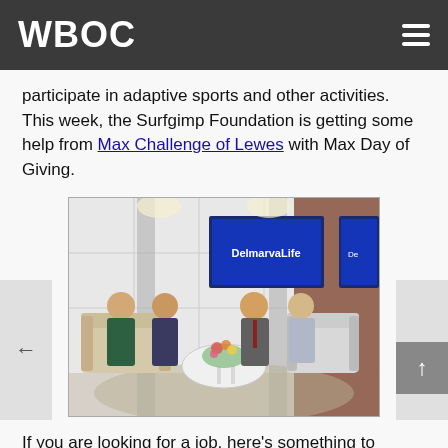WBOC
participate in adaptive sports and other activities. This week, the Surfgimp Foundation is getting some help from Max Challenge of Lewes with Max Day of Giving.
[Figure (photo): Four people seated on sofas and chairs in a television studio set with a 'DelmarvaLife' monitor visible in the background and a floral arrangement on a white coffee table in the foreground.]
If you are looking for a job, here's something to